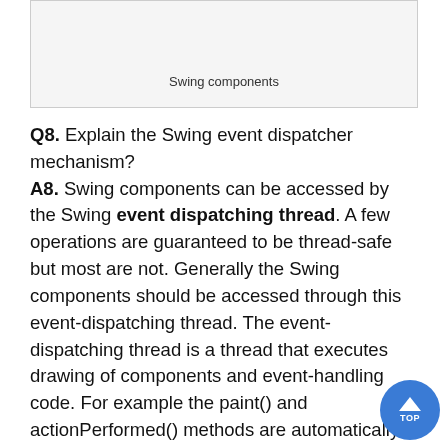[Figure (other): A box showing Swing components image/diagram (partially visible at top of page)]
Swing components
Q8. Explain the Swing event dispatcher mechanism? A8. Swing components can be accessed by the Swing event dispatching thread. A few operations are guaranteed to be thread-safe but most are not. Generally the Swing components should be accessed through this event-dispatching thread. The event-dispatching thread is a thread that executes drawing of components and event-handling code. For example the paint() and actionPerformed() methods are automatically executed in the event-dispatching thread. Another way to execute code in the event-dispatching thread from outside event-handling or drawing code, is using SwingUtilities invokeLater() invokeAndWait() method. Swing lengthy initializati…